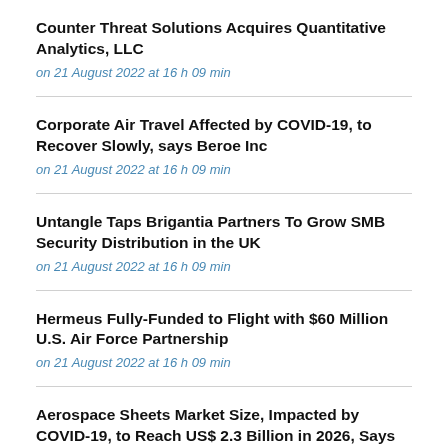Counter Threat Solutions Acquires Quantitative Analytics, LLC
on 21 August 2022 at 16 h 09 min
Corporate Air Travel Affected by COVID-19, to Recover Slowly, says Beroe Inc
on 21 August 2022 at 16 h 09 min
Untangle Taps Brigantia Partners To Grow SMB Security Distribution in the UK
on 21 August 2022 at 16 h 09 min
Hermeus Fully-Funded to Flight with $60 Million U.S. Air Force Partnership
on 21 August 2022 at 16 h 09 min
Aerospace Sheets Market Size, Impacted by COVID-19, to Reach US$ 2.3 Billion in 2026, Says Stratview